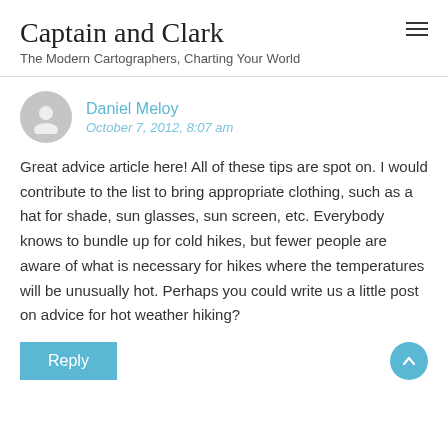Captain and Clark
The Modern Cartographers, Charting Your World
Daniel Meloy
October 7, 2012, 8:07 am
Great advice article here! All of these tips are spot on. I would contribute to the list to bring appropriate clothing, such as a hat for shade, sun glasses, sun screen, etc. Everybody knows to bundle up for cold hikes, but fewer people are aware of what is necessary for hikes where the temperatures will be unusually hot. Perhaps you could write us a little post on advice for hot weather hiking?
Reply